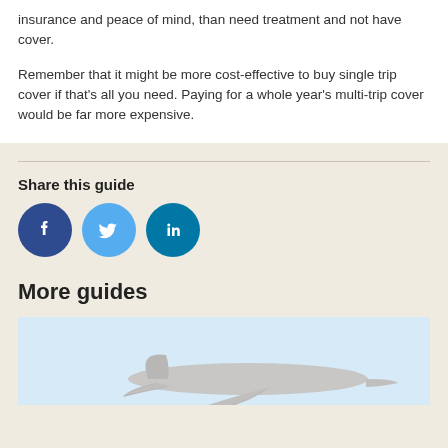insurance and peace of mind, than need treatment and not have cover.
Remember that it might be more cost-effective to buy single trip cover if that's all you need. Paying for a whole year's multi-trip cover would be far more expensive.
Share this guide
[Figure (infographic): Social media share icons: Facebook (dark blue circle with f), Twitter (light blue circle with bird), LinkedIn (teal circle with in)]
More guides
[Figure (illustration): Light blue background with a grey airplane illustration at the bottom]